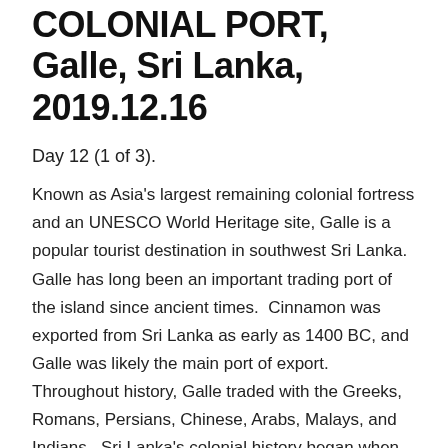COLONIAL FORT, Galle, Sri Lanka, 2019.12.16
Day 12 (1 of 3).
Known as Asia's largest remaining colonial fortress and an UNESCO World Heritage site, Galle is a popular tourist destination in southwest Sri Lanka.  Galle has long been an important trading port of the island since ancient times.  Cinnamon was exported from Sri Lanka as early as 1400 BC, and Galle was likely the main port of export.  Throughout history, Galle traded with the Greeks, Romans, Persians, Chinese, Arabs, Malays, and Indians.  Sri Lanka's colonial history began when the Portuguese arrived in the 16th century and built a fortified city in Galle.  Galle continued to serve as the main port for spices export.  In 1640, the Portuguese surrendered to the Dutch